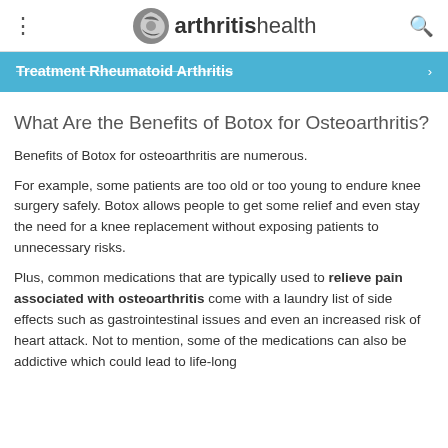arthritishealth
Treatment Rheumatoid Arthritis
What Are the Benefits of Botox for Osteoarthritis?
Benefits of Botox for osteoarthritis are numerous.
For example, some patients are too old or too young to endure knee surgery safely. Botox allows people to get some relief and even stay the need for a knee replacement without exposing patients to unnecessary risks.
Plus, common medications that are typically used to relieve pain associated with osteoarthritis come with a laundry list of side effects such as gastrointestinal issues and even an increased risk of heart attack. Not to mention, some of the medications can also be addictive which could lead to life-long